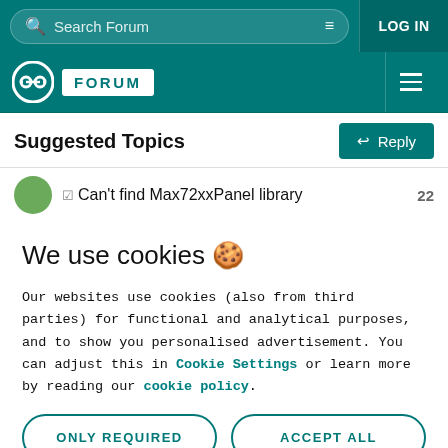Search Forum | LOG IN
[Figure (logo): Arduino Forum logo with infinity symbol and FORUM badge]
Suggested Topics
Can't find Max72xxPanel library
We use cookies 🍪
Our websites use cookies (also from third parties) for functional and analytical purposes, and to show you personalised advertisement. You can adjust this in Cookie Settings or learn more by reading our cookie policy.
ONLY REQUIRED
ACCEPT ALL